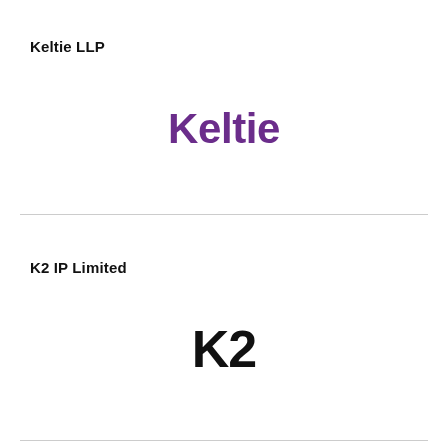Keltie LLP
[Figure (logo): Keltie logo — word 'Keltie' in bold purple sans-serif font]
K2 IP Limited
[Figure (logo): K2 logo — word 'K2' in bold black sans-serif font]